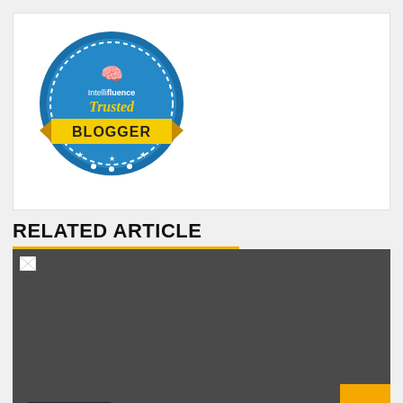[Figure (logo): Intellifluence Trusted Blogger badge — circular blue badge with gold ribbon banner reading BLOGGER and text Intellifluence Trusted Blogger]
RELATED ARTICLE
[Figure (photo): Dark gray placeholder image (broken/unloaded image) with a small broken image icon in top-left corner, a '2 min read' badge at bottom-left, and a gold scroll-to-top button with caret at bottom-right]